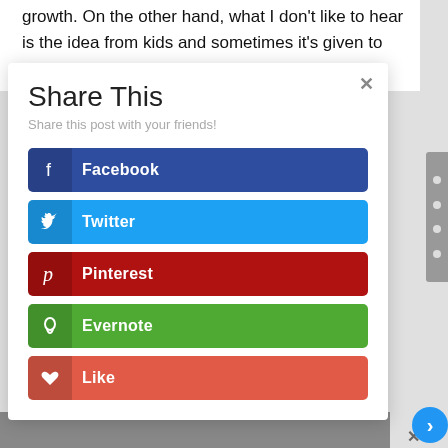growth. On the other hand, what I don't like to hear is the idea from kids and sometimes it's given to them by some of their teachers,
Share This
Share this post with your friends!
Facebook
Twitter
Pinterest
Evernote
Like